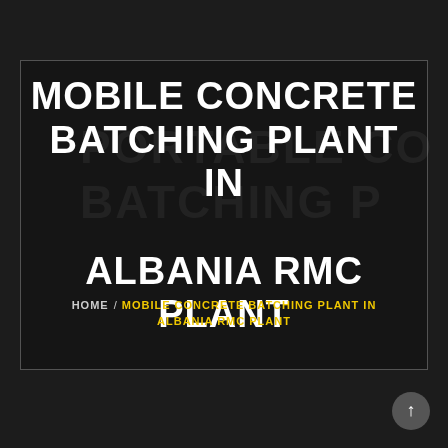[Figure (photo): Dark background webpage header showing 'PORTABLE CONCRETE BATCHING PLANT' text as watermark behind a bordered box, with industrial concrete batching plant equipment visible in the background image.]
MOBILE CONCRETE BATCHING PLANT IN ALBANIA RMC PLANT
HOME / MOBILE CONCRETE BATCHING PLANT IN ALBANIA RMC PLANT